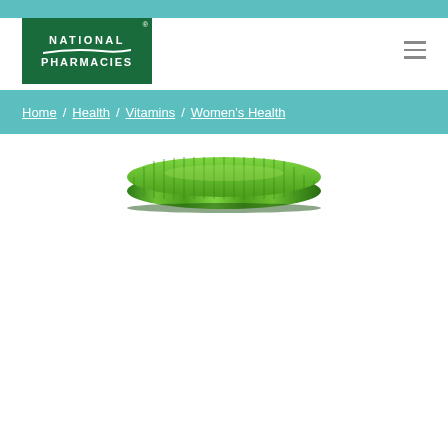[Figure (logo): National Pharmacies logo - green rectangle with white text reading NATIONAL PHARMACIES with a swoosh]
[Figure (other): Hamburger menu icon with three horizontal lines]
Home / Health / Vitamins / Women's Health
[Figure (photo): Green ribbed bottle cap photographed from above at a slight angle, showing top of a vitamin supplement container]